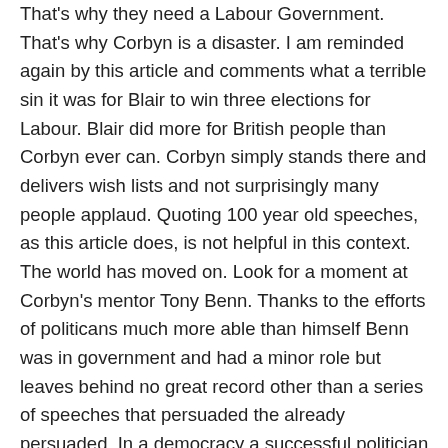That's why they need a Labour Government. That's why Corbyn is a disaster. I am reminded again by this article and comments what a terrible sin it was for Blair to win three elections for Labour. Blair did more for British people than Corbyn ever can. Corbyn simply stands there and delivers wish lists and not surprisingly many people applaud. Quoting 100 year old speeches, as this article does, is not helpful in this context. The world has moved on. Look for a moment at Corbyn's mentor Tony Benn. Thanks to the efforts of politicans much more able than himself Benn was in government and had a minor role but leaves behind no great record other than a series of speeches that persuaded the already persuaded. In a democracy a successful politician needs mass appeal. Isn't that obvious?